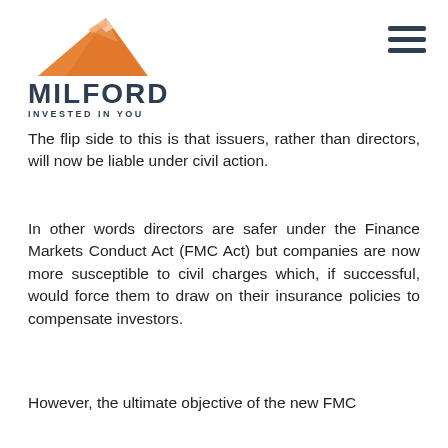[Figure (logo): Milford Asset Management logo: orange mountain graphic above the text MILFORD / INVESTED IN YOU]
The flip side to this is that issuers, rather than directors, will now be liable under civil action.
In other words directors are safer under the Finance Markets Conduct Act (FMC Act) but companies are now more susceptible to civil charges which, if successful, would force them to draw on their insurance policies to compensate investors.
However, the ultimate objective of the new FMC